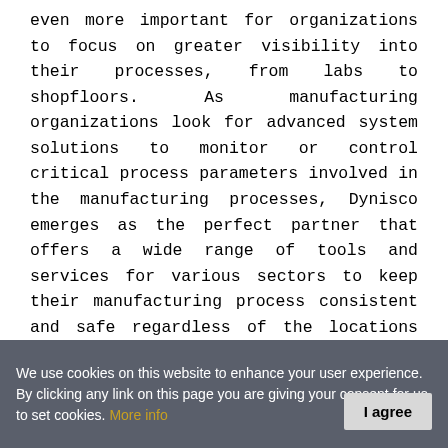even more important for organizations to focus on greater visibility into their processes, from labs to shopfloors. As manufacturing organizations look for advanced system solutions to monitor or control critical process parameters involved in the manufacturing processes, Dynisco emerges as the perfect partner that offers a wide range of tools and services for various sectors to keep their manufacturing process consistent and safe regardless of the locations and conditions.
The company's core market has primarily been plastics and oil and gas, but they do have applications in other areas where sensor-
We use cookies on this website to enhance your user experience. By clicking any link on this page you are giving your consent for us to set cookies. More info   I agree